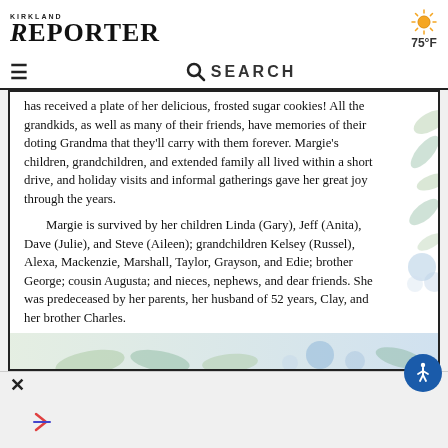KIRKLAND REPORTER — 75°F
has received a plate of her delicious, frosted sugar cookies! All the grandkids, as well as many of their friends, have memories of their doting Grandma that they'll carry with them forever. Margie's children, grandchildren, and extended family all lived within a short drive, and holiday visits and informal gatherings gave her great joy through the years.

Margie is survived by her children Linda (Gary), Jeff (Anita), Dave (Julie), and Steve (Aileen); grandchildren Kelsey (Russel), Alexa, Mackenzie, Marshall, Taylor, Grayson, and Edie; brother George; cousin Augusta; and nieces, nephews, and dear friends. She was predeceased by her parents, her husband of 52 years, Clay, and her brother Charles.